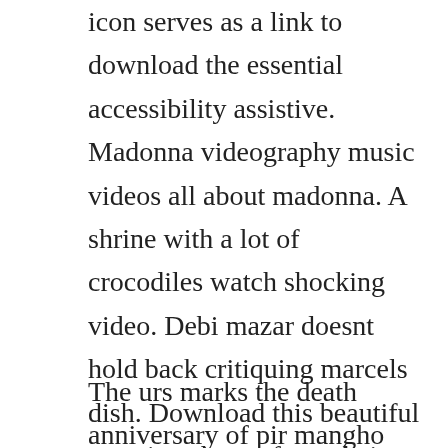icon serves as a link to download the essential accessibility assistive. Madonna videography music videos all about madonna. A shrine with a lot of crocodiles watch shocking video. Debi mazar doesnt hold back critiquing marcels dish. Download this beautiful morning shoot of people in mazaresharif afghanistan video now. Discover the growing collection of high quality clip download mazar mms sana sex xxx movies and clips.
The urs marks the death anniversary of pir mangho and is held annually in the islamic